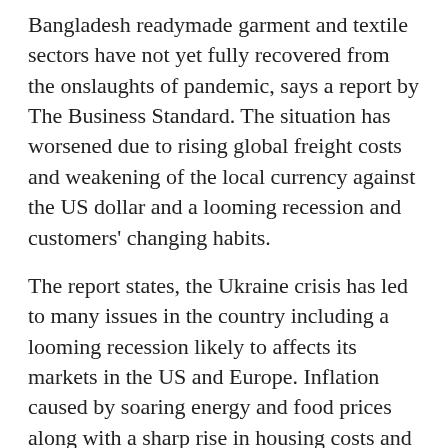Bangladesh readymade garment and textile sectors have not yet fully recovered from the onslaughts of pandemic, says a report by The Business Standard. The situation has worsened due to rising global freight costs and weakening of the local currency against the US dollar and a looming recession and customers' changing habits.
The report states, the Ukraine crisis has led to many issues in the country including a looming recession likely to affects its markets in the US and Europe. Inflation caused by soaring energy and food prices along with a sharp rise in housing costs and mortgages have begun to affect consumer spending patterns as they are left with dwindling disposable income.
With dollar strengthening against the Taka it has also taken a toll on brand's profits in their home countries. For example, H&M in Sweden and Inditex in Spain have faced such fate. Also, major brands are stuck with excess inventory which will slowdown future orders. The report warns RMG and textiles sectors to be careful in coming